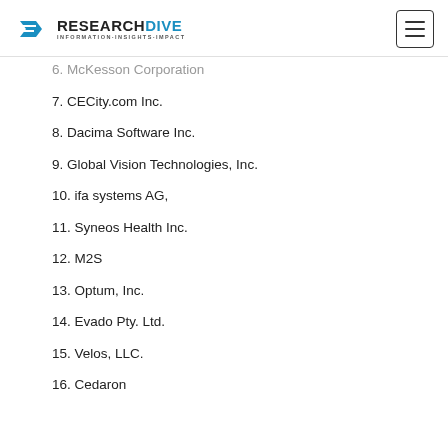RESEARCH DIVE INFORMATION·INSIGHTS·IMPACT
6. McKesson Corporation
7. CECity.com Inc.
8. Dacima Software Inc.
9. Global Vision Technologies, Inc.
10. ifa systems AG,
11. Syneos Health Inc.
12. M2S
13. Optum, Inc.
14. Evado Pty. Ltd.
15. Velos, LLC.
16. Cedaron